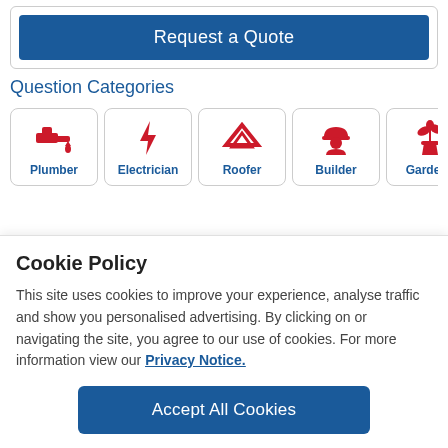Request a Quote
Question Categories
[Figure (infographic): Five category cards: Plumber (faucet icon), Electrician (lightning bolt icon), Roofer (roof/house icon), Builder (hard hat person icon), Gardener (plant in pot icon)]
Cookie Policy
This site uses cookies to improve your experience, analyse traffic and show you personalised advertising. By clicking on or navigating the site, you agree to our use of cookies. For more information view our Privacy Notice.
Accept All Cookies